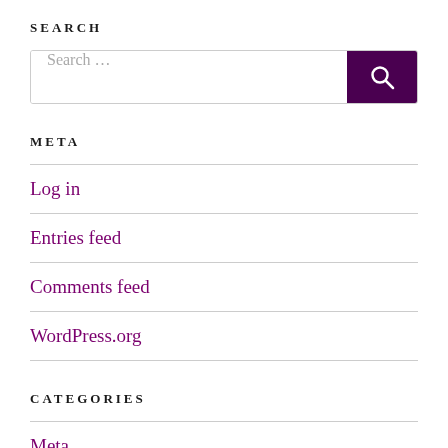SEARCH
[Figure (other): Search input field with placeholder text 'Search ...' and a dark purple search button with a magnifying glass icon]
META
Log in
Entries feed
Comments feed
WordPress.org
CATEGORIES
Meta